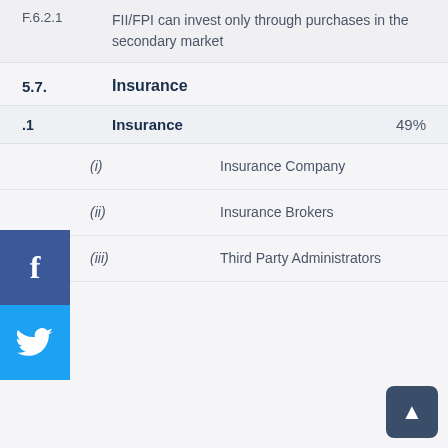F.6.2.1   FII/FPI can invest only through purchases in the secondary market
5.7.   Insurance
5.7.1   Insurance   49%
(i)   Insurance Company
(ii)   Insurance Brokers
(iii)   Third Party Administrators